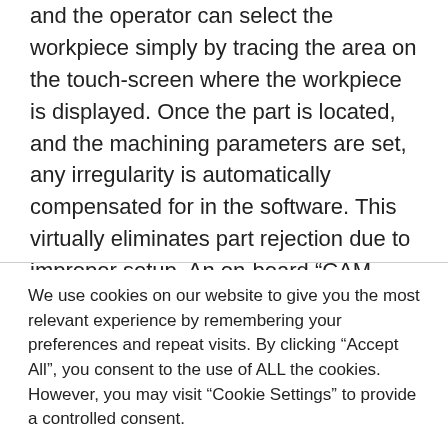and the operator can select the workpiece simply by tracing the area on the touch-screen where the workpiece is displayed. Once the part is located, and the machining parameters are set, any irregularity is automatically compensated for in the software. This virtually eliminates part rejection due to improper setup. An on-board “CAM Assistant” guides the operator through the program and tool management on an interface that
We use cookies on our website to give you the most relevant experience by remembering your preferences and repeat visits. By clicking “Accept All”, you consent to the use of ALL the cookies. However, you may visit “Cookie Settings” to provide a controlled consent.